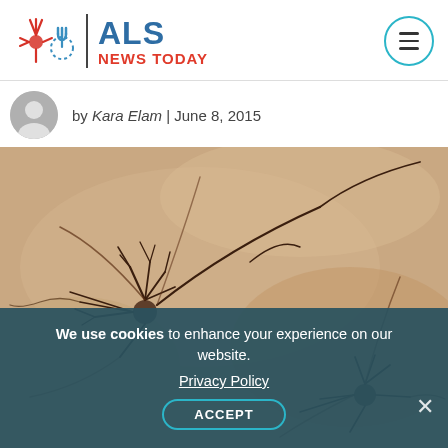[Figure (logo): ALS News Today logo with red neuron icon, vertical divider, blue ALS text and red NEWS TODAY text]
by Kara Elam | June 8, 2015
[Figure (photo): Close-up microscope image of neurons with dark branching dendrites on a warm tan/beige background]
We use cookies to enhance your experience on our website. Privacy Policy ACCEPT